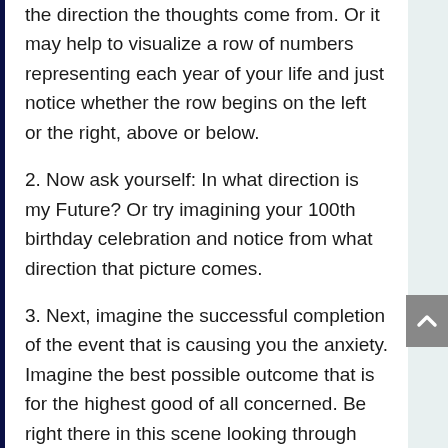the direction the thoughts come from. Or it may help to visualize a row of numbers representing each year of your life and just notice whether the row begins on the left or the right, above or below.
2. Now ask yourself: In what direction is my Future? Or try imagining your 100th birthday celebration and notice from what direction that picture comes.
3. Next, imagine the successful completion of the event that is causing you the anxiety. Imagine the best possible outcome that is for the highest good of all concerned. Be right there in this scene looking through your own eyes. Engage all your senses to really experience this event. Notice the last thing that has to happen